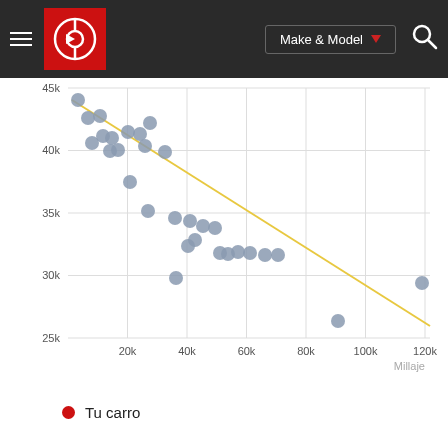[Figure (screenshot): Navigation bar with hamburger menu, red logo with circular icon, Make & Model dropdown button, and search icon on dark background]
[Figure (continuous-plot): Scatter plot showing car price (y-axis, 25k-45k) vs mileage (x-axis, 0-120k) with gray data points and a yellow trend line going from upper-left to lower-right. X-axis label: Millaje. Y-axis ticks: 25k, 30k, 35k, 40k, 45k. X-axis ticks: 20k, 40k, 60k, 80k, 100k, 120k.]
Tu carro